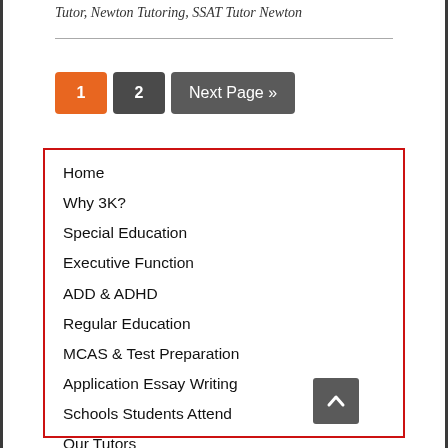Tutor, Newton Tutoring, SSAT Tutor Newton
1
2
Next Page »
Home
Why 3K?
Special Education
Executive Function
ADD & ADHD
Regular Education
MCAS & Test Preparation
Application Essay Writing
Schools Students Attend
Our Tutors
Contact Us
Employment
Blog
Resources